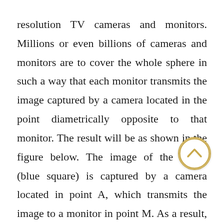resolution TV cameras and monitors. Millions or even billions of cameras and monitors are to cover the whole sphere in such a way that each monitor transmits the image captured by a camera located in the point diametrically opposite to that monitor. The result will be as shown in the figure below. The image of the object (blue square) is captured by a camera located in point A, which transmits the image to a monitor in point M. As a result, an observer in point O will see the blue square as if there were nothing in front of him. In that way, everything inside the sphere will be invisible to the external observer. But this scheme presents two problems. One of